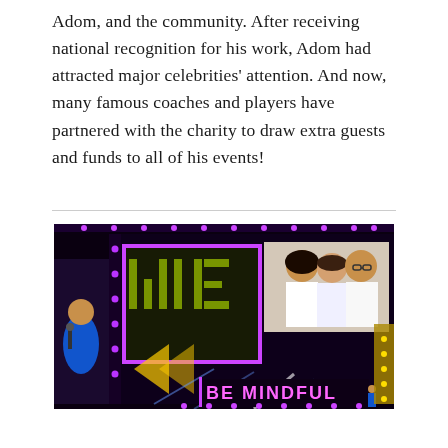Adom, and the community. After receiving national recognition for his work, Adom had attracted major celebrities' attention. And now, many famous coaches and players have partnered with the charity to draw extra guests and funds to all of his events!
[Figure (photo): A stage event photo showing a person in a blue t-shirt speaking with a microphone on the left side of a large illuminated stage. The stage backdrop displays 'WE' in large letters with purple LED lighting and a screen showing three people posing together. The lower portion of the stage reads 'BE MINDFUL' in bright letters.]